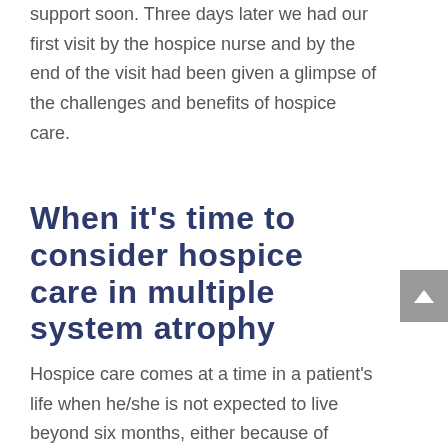support soon. Three days later we had our first visit by the hospice nurse and by the end of the visit had been given a glimpse of the challenges and benefits of hospice care.
When it’s time to consider hospice care in multiple system atrophy
Hospice care comes at a time in a patient’s life when he/she is not expected to live beyond six months, either because of disease prognosis